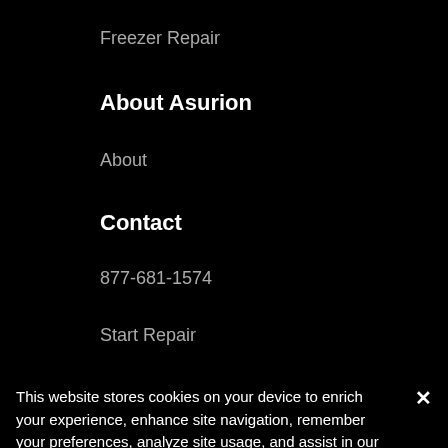Freezer Repair
About Asurion
About
Contact
877-681-1574
Start Repair
This website stores cookies on your device to enrich your experience, enhance site navigation, remember your preferences, analyze site usage, and assist in our marketing efforts.
Cookie Settings
Accept Cookies